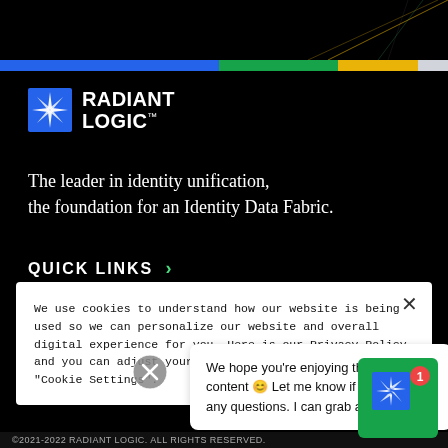[Figure (logo): Radiant Logic logo with blue starburst icon and white text RADIANT LOGIC with trademark symbol]
The leader in identity unification, the foundation for an Identity Data Fabric.
QUICK LINKS >
We use cookies to understand how our website is being used so we can personalize our website and overall digital experience for you. Here is our Privacy Policy and you can adjust your preferences by selecting "Cookie Settings".
We hope you're enjoying the content 😊 Let me know if you have any questions. I can grab a human!
©2021-2022 RADIANT LOGIC. ALL RIGHTS RESERVED.